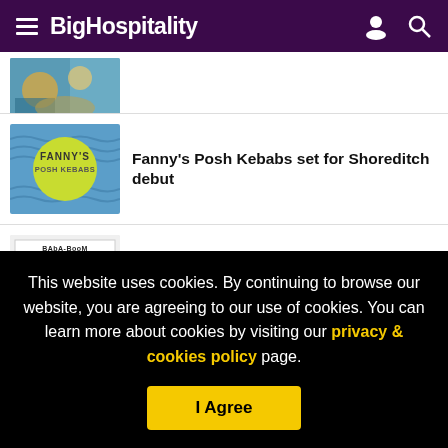BigHospitality
[Figure (photo): Partial thumbnail of a food image]
[Figure (photo): Fanny's Posh Kebabs logo - circular yellow logo with blue wavy background]
Fanny's Posh Kebabs set for Shoreditch debut
[Figure (photo): BabaBoom restaurant sign with two men standing in front]
Former Nando's director to launch kebab restaurant BabaBoom
This website uses cookies. By continuing to browse our website, you are agreeing to our use of cookies. You can learn more about cookies by visiting our privacy & cookies policy page.